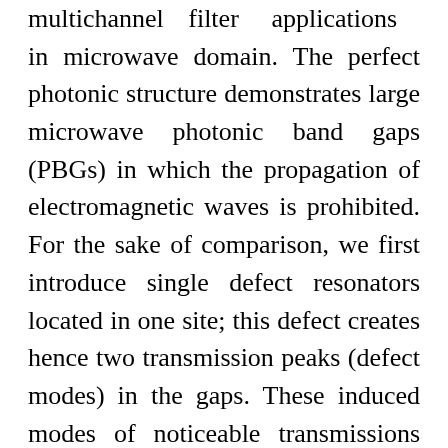multichannel filter applications in microwave domain. The perfect photonic structure demonstrates large microwave photonic band gaps (PBGs) in which the propagation of electromagnetic waves is prohibited. For the sake of comparison, we first introduce single defect resonators located in one site; this defect creates hence two transmission peaks (defect modes) in the gaps. These induced modes of noticeable transmissions and good quality factors permit our proposed SWGs to behave like a single narrow band channel filter. Several localized modes appear in the band gaps whenweintroduce three resonators defects of different lengths and located in three different sites. With an appropriate choice of the geometrical parameters d₁ = 1 m,d₂ = 0.5